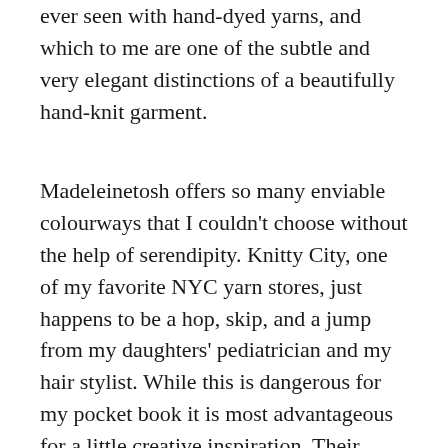ever seen with hand-dyed yarns, and which to me are one of the subtle and very elegant distinctions of a beautifully hand-knit garment.
Madeleinetosh offers so many enviable colourways that I couldn't choose without the help of serendipity. Knitty City, one of my favorite NYC yarn stores, just happens to be a hop, skip, and a jump from my daughters' pediatrician and my hair stylist. While this is dangerous for my pocket book it is most advantageous for a little creative inspiration. Their Madeleinetosh stock must move quickly because they seldom have a sweater's worth of a single colour but on a few occasions I've lucked out and found enough yarn in a single, to-die for colourway to make myself a sweater. The Vintage in Candlewick and Tosh Sock in Filigree I've currently got on my needles are